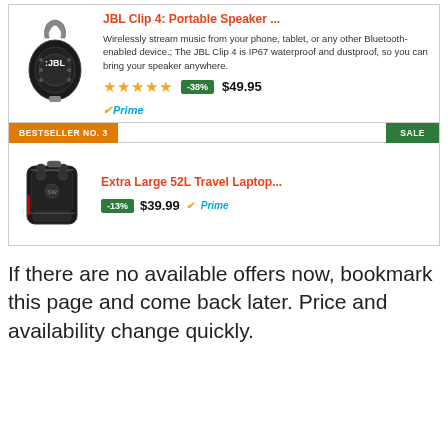[Figure (photo): JBL Clip 4 portable Bluetooth speaker, black color with clip]
JBL Clip 4: Portable Speaker ...
Wirelessly stream music from your phone, tablet, or any other Bluetooth-enabled device.; The JBL Clip 4 is IP67 waterproof and dustproof, so you can bring your speaker anywhere.
★★★★★ -38% $49.95 Prime
BESTSELLER NO. 3   SALE
[Figure (photo): Extra large 52L travel laptop backpack, black with red accents]
Extra Large 52L Travel Laptop...
-13% $39.99 Prime
If there are no available offers now, bookmark this page and come back later. Price and availability change quickly.